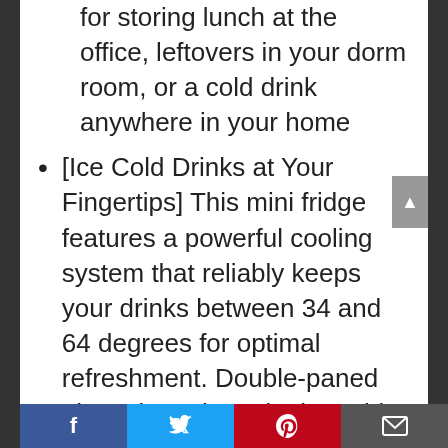This compact mini fridge is perfect for storing lunch at the office, leftovers in your dorm room, or a cold drink anywhere in your home
[Ice Cold Drinks at Your Fingertips] This mini fridge features a powerful cooling system that reliably keeps your drinks between 34 and 64 degrees for optimal refreshment. Double-paned glass doors keep in the cold while providing a timeless stainless-steel look
[The Compact Fridge with Lots of Space] This mini fridge packs a big punch. With the capacity to hold up